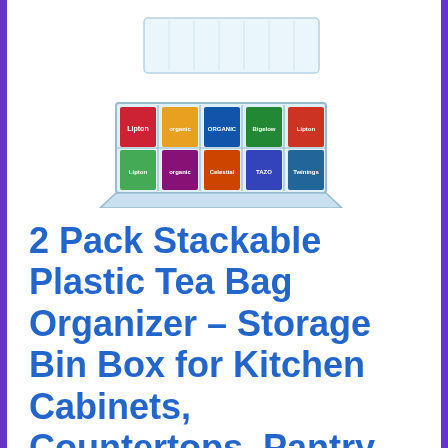[Figure (photo): Clear plastic stackable tea bag organizer box with hinged lid open, showing multiple compartments filled with colorful tea bags including Lipton and other brands]
2 Pack Stackable Plastic Tea Bag Organizer – Storage Bin Box for Kitchen Cabinets, Countertops, Pantry – Holds